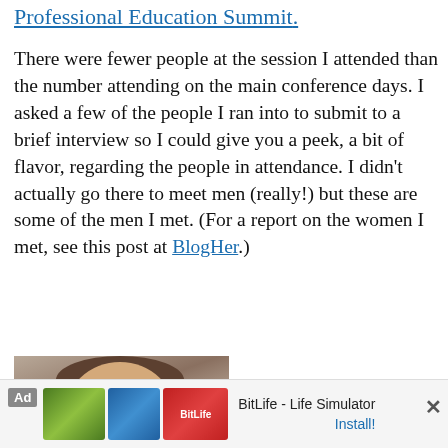Professional Education Summit.
There were fewer people at the session I attended than the number attending on the main conference days. I asked a few of the people I ran into to submit to a brief interview so I could give you a peek, a bit of flavor, regarding the people in attendance. I didn't actually go there to meet men (really!) but these are some of the men I met. (For a report on the women I met, see this post at BlogHer.)
[Figure (photo): Headshot photo of a man with brown hair, smiling, wearing a suit or collared shirt.]
Ad — BitLife - Life Simulator — Install!